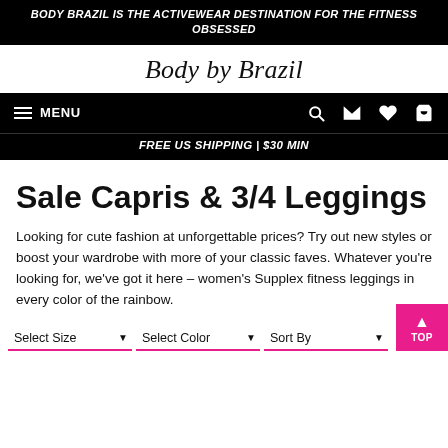BODY BRAZIL IS THE ACTIVEWEAR DESTINATION FOR THE FITNESS OBSESSED
Body by Brazil
MENU | search | mail | heart | cart icons | FREE US SHIPPING | $30 MIN
Sale Capris & 3/4 Leggings
Looking for cute fashion at unforgettable prices? Try out new styles or boost your wardrobe with more of your classic faves. Whatever you're looking for, we've got it here – women's Supplex fitness leggings in every color of the rainbow.
Select Size ▼   Select Color ▼   Sort By ▼